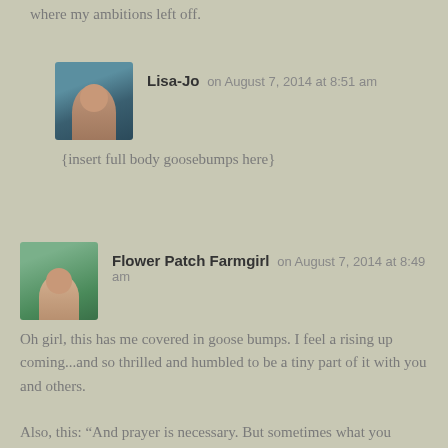where my ambitions left off.
Lisa-Jo on August 7, 2014 at 8:51 am
{insert full body goosebumps here}
Flower Patch Farmgirl on August 7, 2014 at 8:49 am
Oh girl, this has me covered in goose bumps. I feel a rising up coming...and so thrilled and humbled to be a tiny part of it with you and others.

Also, this: “And prayer is necessary. But sometimes what you really need is a loaner